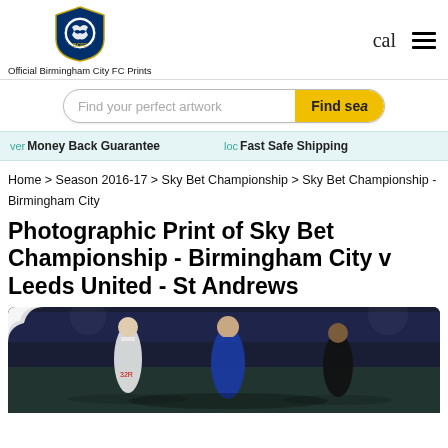[Figure (logo): Birmingham City FC crest logo in blue]
cal
[Figure (other): Hamburger menu icon (three horizontal lines)]
Official Birmingham City FC Prints
[Figure (other): Search bar with placeholder 'Find your perfect artwork' and yellow 'Find sea' button]
ver Money Back Guarantee
loc Fast Safe Shipping
Home > Season 2016-17 > Sky Bet Championship > Sky Bet Championship - Birmingham City
Photographic Print of Sky Bet Championship - Birmingham City v Leeds United - St Andrews
[Figure (photo): Football match photo showing players in action at St Andrews stadium, Birmingham City players in blue kit vs Leeds United in white, night match]